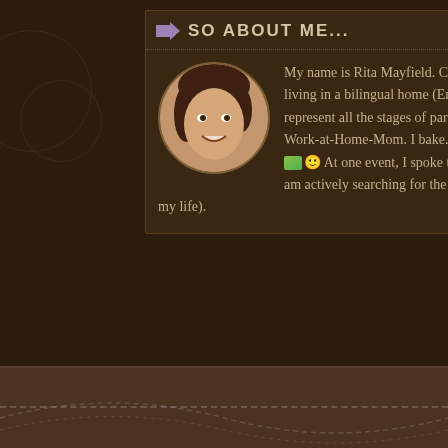SO ABOUT ME...
[Figure (photo): Circular profile photo of Rita Mayfield, a woman with brown hair, smiling]
My name is Rita Mayfield. Columbia, SC is home. I am the Mom to three kids living in a bilingual home (English/French). I created the SIDS Guild logo to represent all the stages of parenthood. I wrote my all my books while being a Work-at-Home-Mom. I bake. Often. Sometimes with my kids. 😊 At one event, I spoke to 1500 (FIFTEEN HUNDRED) kids & teachers. I am actively searching for the laundry fairy (because there is too much laundry in my life).
Rec...
Family T...
Ways to Charita...
Engaging About R...